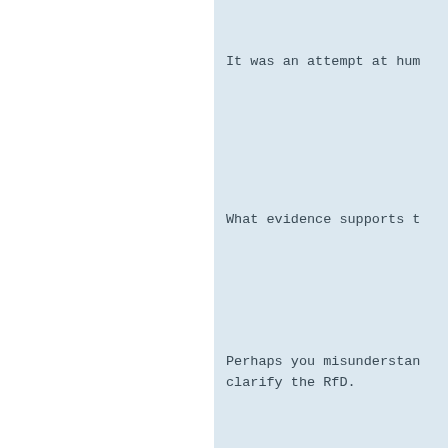It was an attempt at hum
What evidence supports t
Perhaps you misunderstand clarify the RfD.
I was looking for Forths word. I have MPE VFX For others? pForth only supp wordset.
DragonForth has seen no supports COMPARE-U. Futu sense; what am I to do w